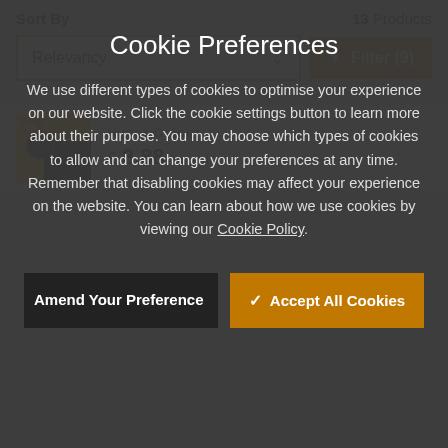Sort By   13 Products
Relevancy   Filter (9)
£ 8.88 inc. vat
Cookie Preferences
We use different types of cookies to optimise your experience on our website. Click the cookie settings button to learn more about their purpose. You may choose which types of cookies to allow and can change your preferences at any time. Remember that disabling cookies may affect your experience on the website. You can learn about how we use cookies by viewing our Cookie Policy.
Amend Your Preference
Accept All Cookies